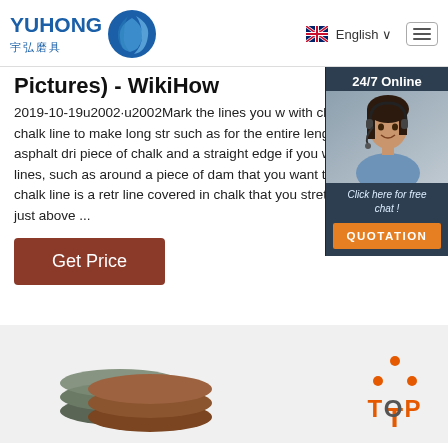YUHONG 宇弘磨具 | English
Pictures) - WikiHow
2019-10-19u2002·u2002Mark the lines you w with chalk. Use a chalk line to make long str such as for the entire length of an asphalt dri piece of chalk and a straight edge if you wan shorter lines, such as around a piece of dam that you want to cut out. A chalk line is a retr line covered in chalk that you stretch out in a just above ...
[Figure (photo): Customer service representative with headset, 24/7 Online chat widget with QUOTATION button]
Get Price
[Figure (other): TOP button with orange dots and text]
[Figure (photo): Grinding discs at the bottom of the page]